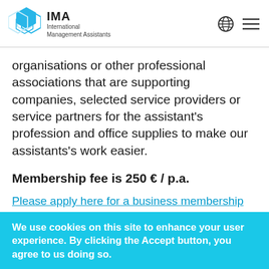IMA International Management Assistants
organisations or other professional associations that are supporting companies, selected service providers or service partners for the assistant's profession and office supplies to make our assistants's work easier.
Membership fee is 250 € / p.a.
Please apply here for a business membership
We use cookies on this site to enhance your user experience. By clicking the Accept button, you agree to us doing so.